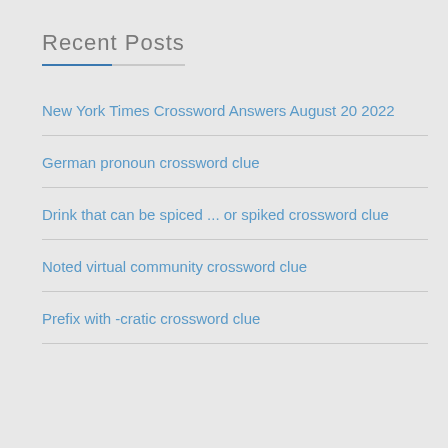Recent Posts
New York Times Crossword Answers August 20 2022
German pronoun crossword clue
Drink that can be spiced ... or spiked crossword clue
Noted virtual community crossword clue
Prefix with -cratic crossword clue